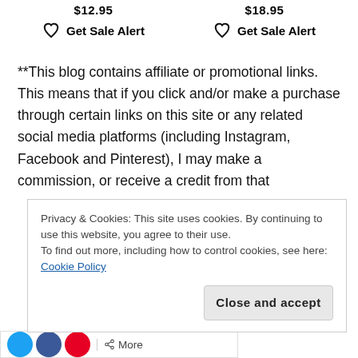$12.95   $18.95
♡ Get Sale Alert   ♡ Get Sale Alert
**This blog contains affiliate or promotional links. This means that if you click and/or make a purchase through certain links on this site or any related social media platforms (including Instagram, Facebook and Pinterest), I may make a commission, or receive a credit from that
Privacy & Cookies: This site uses cookies. By continuing to use this website, you agree to their use.
To find out more, including how to control cookies, see here:
Cookie Policy
Close and accept